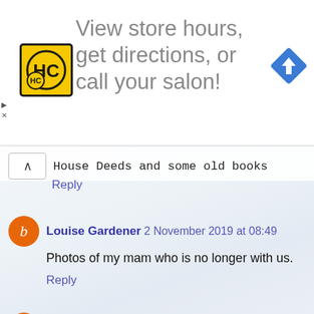[Figure (infographic): HC Haircuts advertisement banner: yellow/black HC logo, text 'View store hours, get directions, or call your salon!', blue navigation diamond icon on right]
House Deeds and some old books
Reply
Louise Gardener 2 November 2019 at 08:49
Photos of my mam who is no longer with us.
Reply
Emma Fox 2 November 2019 at 09:31
Family photos and important documents :)
Reply
paula cheadle 2 November 2019 at 11:19